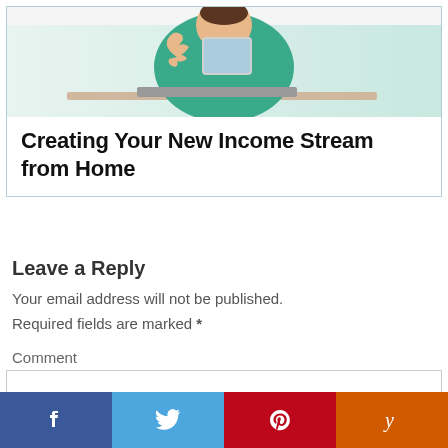[Figure (photo): Woman in teal top holding a tablet with thumbs up, sitting at a desk]
Creating Your New Income Stream from Home
Leave a Reply
Your email address will not be published.
Required fields are marked *
Comment